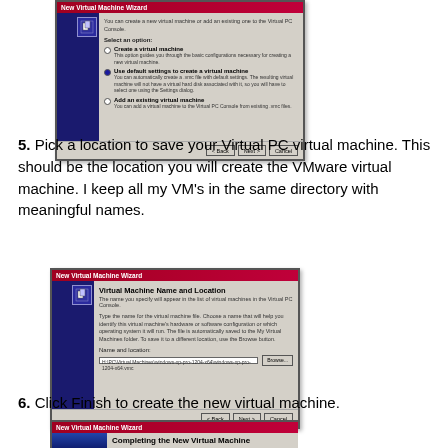[Figure (screenshot): New Virtual Machine Wizard dialog showing option selection screen with 'Use default settings to create a virtual machine' selected, and Back/Next/Cancel buttons]
5. Pick a location to save your Virtual PC virtual machine.  This should be the location you will create the VMware virtual machine.  I keep all my VM's in the same directory with meaningful names.
[Figure (screenshot): New Virtual Machine Wizard - Virtual Machine Name and Location screen showing a name/location input field with a path value and Browse button, plus Back/Next/Cancel buttons]
6. Click Finish to create the new virtual machine.
[Figure (screenshot): New Virtual Machine Wizard - Completing the New Virtual Machine Wizard screen with icon on left]